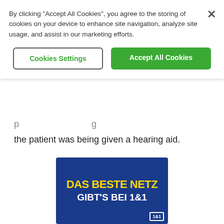By clicking "Accept All Cookies", you agree to the storing of cookies on your device to enhance site navigation, analyze site usage, and assist in our marketing efforts.
Cookies Settings | Accept All Cookies
the patient was being given a hearing aid.
[Figure (advertisement): Blue background advertisement banner reading 'DAS BESTE NETZ GIBT'S BEI 1&1' with yellow and white bold text and a 1&1 logo in the bottom right corner.]